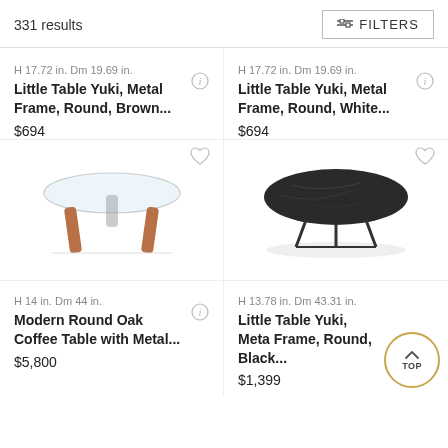331 results
FILTERS
H 17.72 in. Dm 19.69 in.
Little Table Yuki, Metal Frame, Round, Brown...
$694
H 17.72 in. Dm 19.69 in.
Little Table Yuki, Metal Frame, Round, White...
$694
[Figure (photo): Round glass-top coffee table with wooden legs]
[Figure (photo): Round black marble-top coffee table with metal legs]
H 14 in. Dm 44 in.
Modern Round Oak Coffee Table with Metal...
$5,800
H 13.78 in. Dm 43.31 in.
Little Table Yuki, Metal Frame, Round, Black...
$1,399